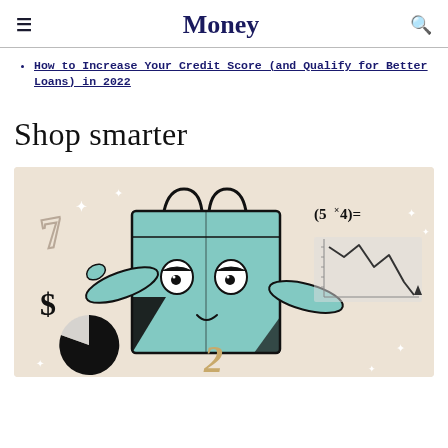Money
How to Increase Your Credit Score (and Qualify for Better Loans) in 2022
Shop smarter
[Figure (illustration): Cartoon illustration of an anthropomorphized teal shopping bag character with eyes, arms, and a smile, surrounded by financial symbols: a dollar sign, pie chart, the number 7, a math equation (5×4)=, a line chart showing a downward trend, the number 2, and sparkle/diamond shapes. Background is beige/cream.]